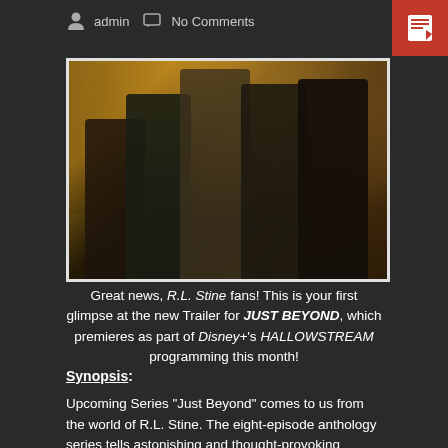admin  No Comments
[Figure (photo): Group of five young people standing in a row in what appears to be an ornate interior setting with warm lighting. They are looking in the same direction.]
Great news, R.L. Stine fans! This is your first glimpse at the new Trailer for JUST BEYOND, which premieres as part of Disney+'s HALLOWSTREAM programming this month!
Synopsis:
Upcoming Series “Just Beyond” comes to us from the world of R.L. Stine. The eight-episode anthology series tells astonishing and thought-provoking stories of a reality just beyond the one we know. Each episode introduces viewers to a new cast of characters who must go on a surprising journey of self-discovery in a supernatural world of witches, aliens, ghosts and